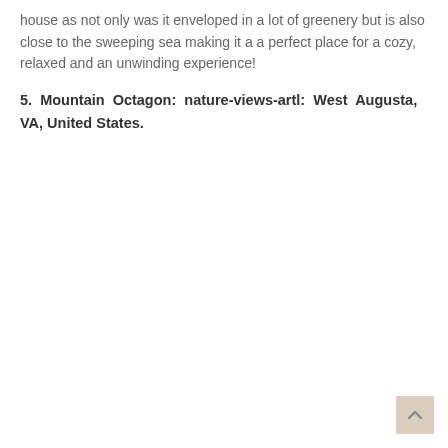house as not only was it enveloped in a lot of greenery but is also close to the sweeping sea making it a a perfect place for a cozy, relaxed and an unwinding experience!
5. Mountain Octagon: nature-views-artl: West Augusta, VA, United States.